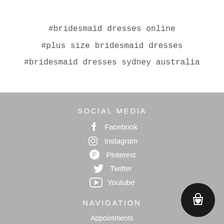#bridesmaid dresses online
#plus size bridesmaid dresses
#bridesmaid dresses sydney australia
SOCIAL MEDIA
Facebook
Instagram
Pinterest
Twitter
Youtube
NAVIGATION
Appointments
Create Your Dream Wedding Dress
[Figure (illustration): Black circular button with shopping bag and heart icon]